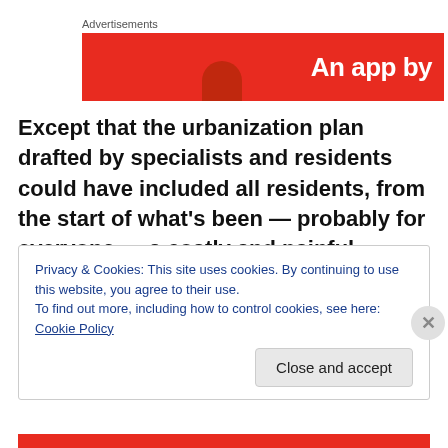Advertisements
[Figure (illustration): Red advertisement banner with white bold text reading 'An app by']
Except that the urbanization plan drafted by specialists and residents could have included all residents, from the start of what's been — probably for everyone — a costly and painful experience. The plan presentation actually came in the wake of an online campaign calling for the
Privacy & Cookies: This site uses cookies. By continuing to use this website, you agree to their use.
To find out more, including how to control cookies, see here: Cookie Policy
Close and accept